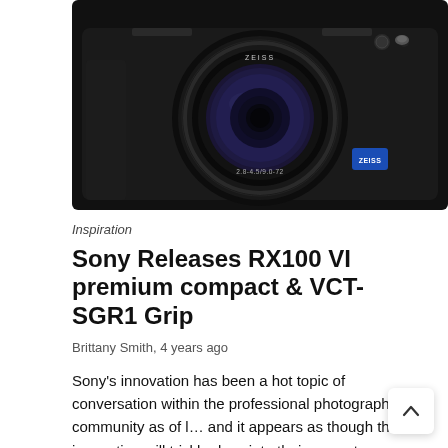[Figure (photo): Close-up front view of a Sony RX100 VI compact camera with Zeiss lens, showing the lens markings 2.8-4.5/9.0-72, a blue Zeiss badge, on a black background.]
Inspiration
Sony Releases RX100 VI premium compact & VCT-SGR1 Grip
Brittany Smith, 4 years ago
Sony's innovation has been a hot topic of conversation within the professional photography community as of l… and it appears as though that innovation will trickle do… into their newest premium compact offering.